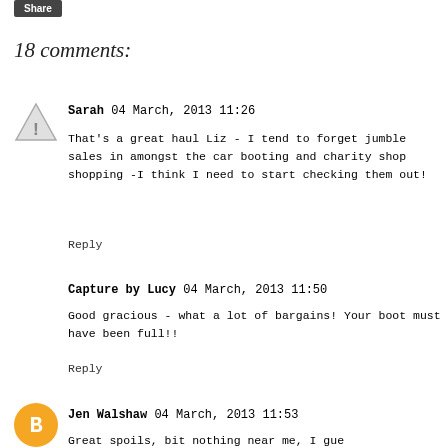Share
18 comments:
Sarah 04 March, 2013 11:26
That's a great haul Liz - I tend to forget jumble sales in amongst the car booting and charity shop shopping -I think I need to start checking them out!
Reply
Capture by Lucy 04 March, 2013 11:50
Good gracious - what a lot of bargains! Your boot must have been full!!
Reply
Jen Walshaw 04 March, 2013 11:53
Great spoils, bit nothing near me, I gue...